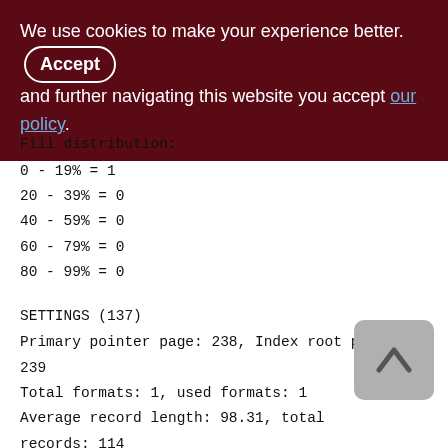We use cookies to make your experience better. By accepting and further navigating this website you accept our policy.
Fill distribution:
0 - 19% = 1
20 - 39% = 0
40 - 59% = 0
60 - 79% = 0
80 - 99% = 0
SETTINGS (137)
Primary pointer page: 238, Index root page: 239
Total formats: 1, used formats: 1
Average record length: 98.31, total records: 114